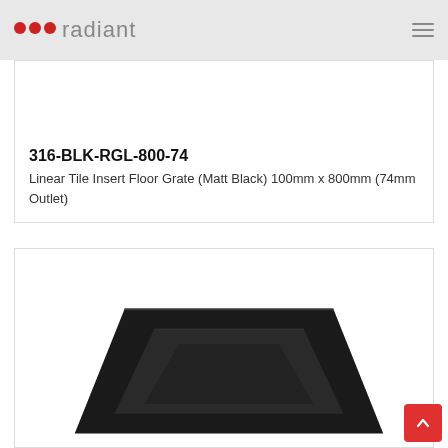radiant
316-BLK-RGL-800-74
Linear Tile Insert Floor Grate (Matt Black) 100mm x 800mm (74mm Outlet)
[Figure (photo): Matte black linear tile insert floor grate product photo showing rectangular drain grate from above/perspective angle]